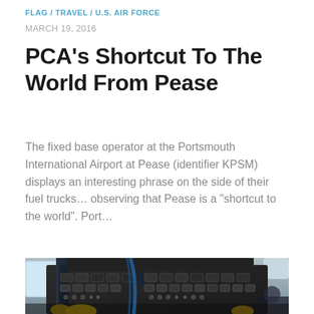FLAG / TRAVEL / U.S. AIR FORCE
MARCH 19, 2016
PCA’s Shortcut To The World From Pease
The fixed base operator at the Portsmouth International Airport at Pease (identifier KPSM) displays an interesting phrase on the side of their fuel trucks… observing that Pease is a “shortcut to the world”. Port…
[Figure (photo): Cockpit interior view from below showing aircraft instrument panel and controls with pilot visible]